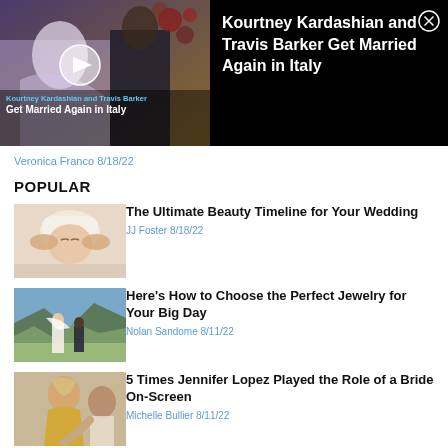[Figure (screenshot): Video overlay banner: thumbnail of Kourtney Kardashian and Travis Barker wedding with play button, overlay text 'Kourtney Kardashian and Travis Barker Get Married Again in Italy', close X button]
Veronica Franco 8/18/22
POPULAR
[Figure (photo): Woman with white towel on head receiving facial massage]
The Ultimate Beauty Timeline for Your Wedding
JJ Foster 8/18/22
[Figure (photo): Bride and groom walking in mountain field]
Here's How to Choose the Perfect Jewelry for Your Big Day
Nolan Sandome 8/11/22
[Figure (photo): Woman in wedding dress being helped with gown]
5 Times Jennifer Lopez Played the Role of a Bride On-Screen
Michelle Bullier 8/11/22